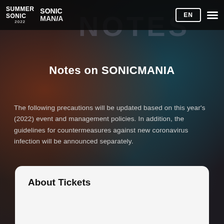SUMMER SONIC 2022 | SONICMANIA | EN | menu
Notes on SONICMANIA
The following precautions will be updated based on this year's (2022) event and management policies. In addition, the guidelines for countermeasures against new coronavirus infection will be announced separately.
About Tickets